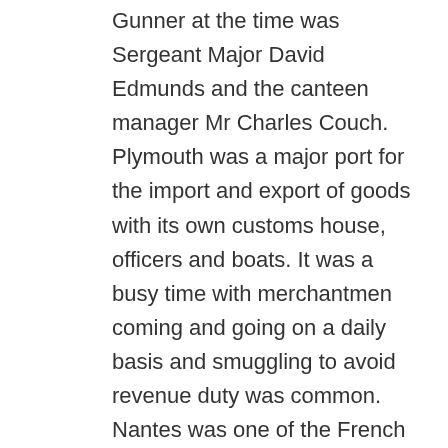Gunner at the time was Sergeant Major David Edmunds and the canteen manager Mr Charles Couch. Plymouth was a major port for the import and export of goods with its own customs house, officers and boats. It was a busy time with merchantmen coming and going on a daily basis and smuggling to avoid revenue duty was common. Nantes was one of the French Ports which was well known for smuggling and arrangements could be made there to hire a ship to smuggle in goods and the merchantman involved in the attempt was a French sloop of 23 tons, the Virginie from that very port of Nantes with a crew of 5 carrying 250 tubs of Brandy for import. Exactly how big a tub is difficult to determine as some reports mention kegs as well as tubs and a tub could